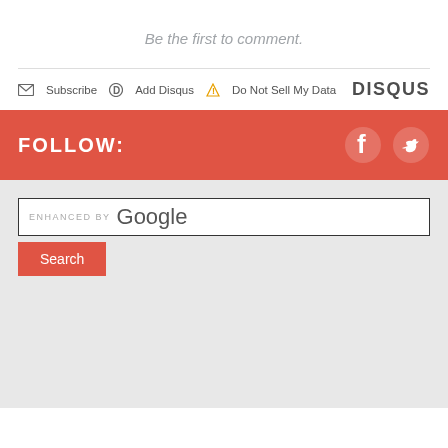Be the first to comment.
Subscribe  Add Disqus  Do Not Sell My Data   DISQUS
FOLLOW:
[Figure (other): Facebook and Twitter social icons in white on red background]
[Figure (other): Enhanced by Google search bar with Search button]